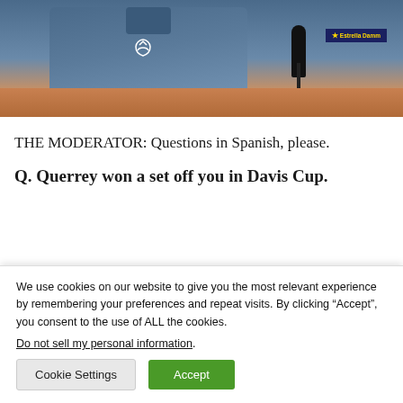[Figure (photo): A tennis player in a blue jacket holding a microphone, with a clay court and crowd visible in the background. A sponsor banner showing 'Estrella Damm' is visible.]
THE MODERATOR: Questions in Spanish, please.
Q. Querrey won a set off you in Davis Cup.
We use cookies on our website to give you the most relevant experience by remembering your preferences and repeat visits. By clicking “Accept”, you consent to the use of ALL the cookies.
Do not sell my personal information.